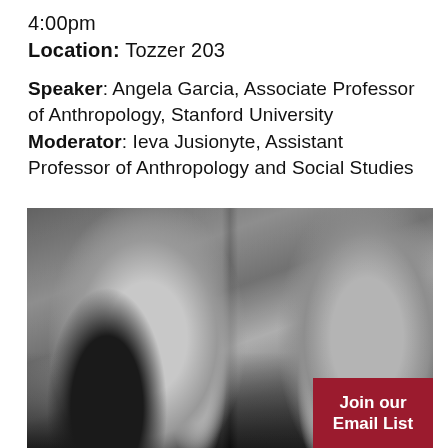4:00pm
Location: Tozzer 203
Speaker: Angela Garcia, Associate Professor of Anthropology, Stanford University
Moderator: Ieva Jusionyte, Assistant Professor of Anthropology and Social Studies
[Figure (photo): Black and white photograph of people sitting in chairs, showing their torsos and arms, with one person's arm extended outward]
Join our Email List